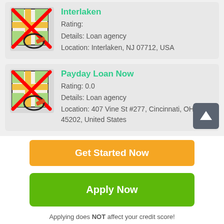[Figure (illustration): Map thumbnail icon with red X overlay and circled pencil/location marker, for Interlaken listing]
Interlaken
Rating:
Details: Loan agency
Location: Interlaken, NJ 07712, USA
[Figure (illustration): Map thumbnail icon with red X overlay and circled pencil/location marker, for Payday Loan Now listing]
Payday Loan Now
Rating: 0.0
Details: Loan agency
Location: 407 Vine St #277, Cincinnati, OH 45202, United States
[Figure (other): Scroll to top button with upward white arrow on grey background]
Get Started Now
Apply Now
Applying does NOT affect your credit score!
No credit check to apply.